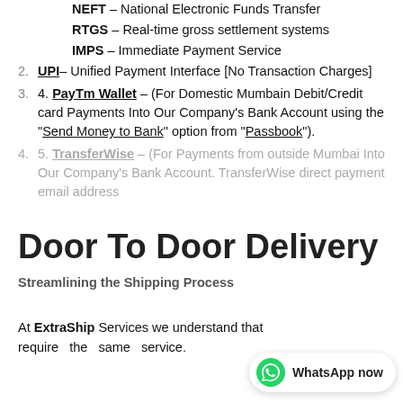NEFT – National Electronic Funds Transfer
RTGS – Real-time gross settlement systems
IMPS – Immediate Payment Service
2. UPI– Unified Payment Interface [No Transaction Charges]
3. 4. PayTm Wallet – (For Domestic Mumbain Debit/Credit card Payments Into Our Company's Bank Account using the "Send Money to Bank" option from "Passbook").
4. 5. TransferWise – (For Payments from outside Mumbai Into Our Company's Bank Account. TransferWise direct payment email address
Door To Door Delivery
Streamlining the Shipping Process
At ExtraShip Services we understand that require the same service.